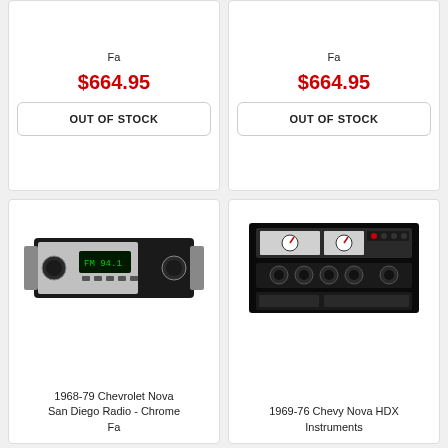Fa
$664.95
OUT OF STOCK
$664.95
OUT OF STOCK
[Figure (photo): 1968-79 Chevrolet Nova San Diego Radio - Chrome Fa, a classic car radio unit with chrome face and digital display showing FM 94.1]
1968-79 Chevrolet Nova San Diego Radio - Chrome Fa
[Figure (photo): 1969-76 Chevy Nova HDX Instruments dashboard panel with gauges and controls on dark background]
1969-76 Chevy Nova HDX Instruments